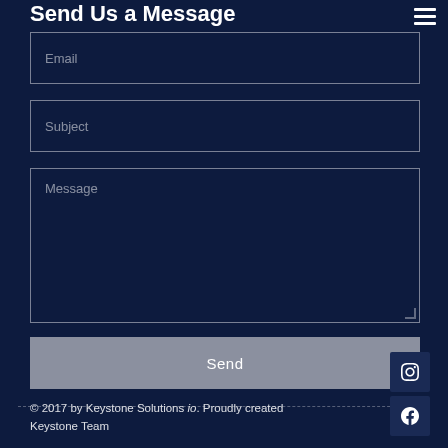Send Us a Message
Email
Subject
Message
Send
© 2017 by Keystone Solutions io. Proudly created Keystone Team